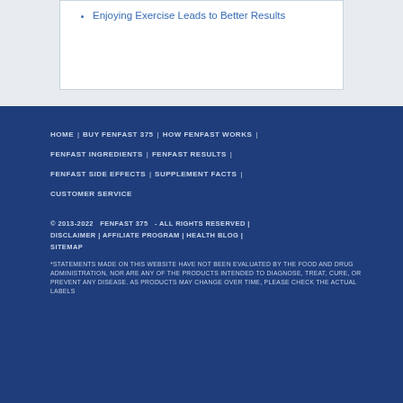Enjoying Exercise Leads to Better Results
HOME | BUY FENFAST 375 | HOW FENFAST WORKS | FENFAST INGREDIENTS | FENFAST RESULTS | FENFAST SIDE EFFECTS | SUPPLEMENT FACTS | CUSTOMER SERVICE
© 2013-2022  FENFAST 375  - ALL RIGHTS RESERVED | DISCLAIMER | AFFILIATE PROGRAM | HEALTH BLOG | SITEMAP
*STATEMENTS MADE ON THIS WEBSITE HAVE NOT BEEN EVALUATED BY THE FOOD AND DRUG ADMINISTRATION, NOR ARE ANY OF THE PRODUCTS INTENDED TO DIAGNOSE, TREAT, CURE, OR PREVENT ANY DISEASE. AS PRODUCTS MAY CHANGE OVER TIME, PLEASE CHECK THE ACTUAL LABELS